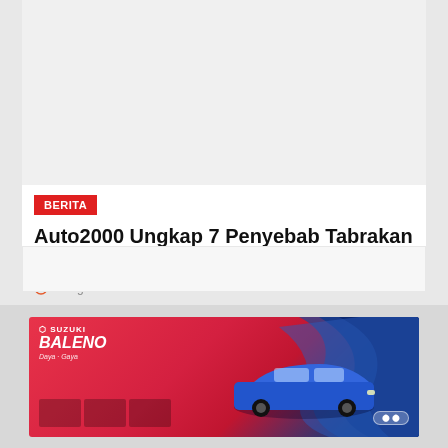[Figure (other): Gray placeholder image area at top of article]
BERITA
Auto2000 Ungkap 7 Penyebab Tabrakan Beruntun
30 Agustus 2022
[Figure (other): Gray content placeholder box below article header]
[Figure (advertisement): Suzuki Baleno car advertisement banner with red and blue background, showing a blue Suzuki Baleno car]